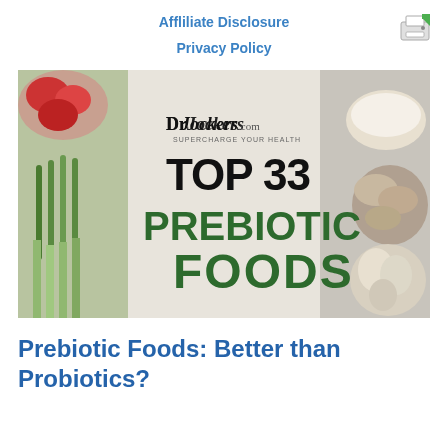Affliliate Disclosure
Privacy Policy
[Figure (photo): DrJockers.com article header image showing 'TOP 33 PREBIOTIC FOODS' text on a light background with various prebiotic foods including strawberries, asparagus, leeks, garlic, mushrooms, and flour displayed around the text. DrJockers.com logo with tagline 'Supercharge Your Health' appears at top.]
Prebiotic Foods: Better than Probiotics?